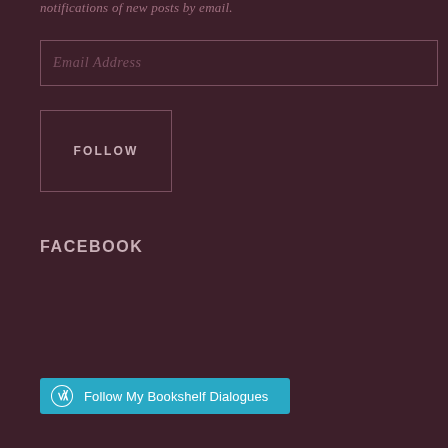notifications of new posts by email.
Email Address
FOLLOW
FACEBOOK
[Figure (other): WordPress Follow button: 'Follow My Bookshelf Dialogues' in cyan/teal color with WordPress logo icon]